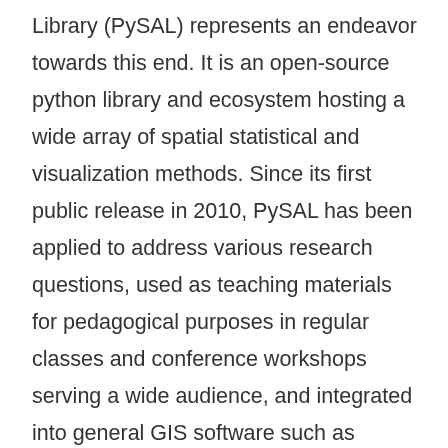Library (PySAL) represents an endeavor towards this end. It is an open-source python library and ecosystem hosting a wide array of spatial statistical and visualization methods. Since its first public release in 2010, PySAL has been applied to address various research questions, used as teaching materials for pedagogical purposes in regular classes and conference workshops serving a wide audience, and integrated into general GIS software such as ArcGIS and QGIS. This entry first gives an overview of the history and new development with PySAL. This is followed by a discussion of PySAL's new hierarchical structure, and two different modes of accessing PySAL's functionalities to perform various spatial statistical tasks, including exploratory spatial data analysis, spatial regression, and geovisualization. Next, a discussion is provided on how to find and utilize useful materials for studying and using spatial statistical functions from PySAL and how to get involved with the